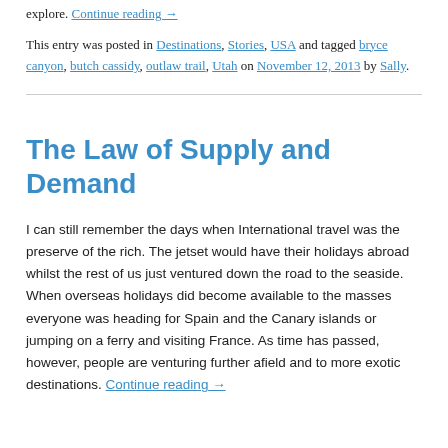explore. Continue reading →
This entry was posted in Destinations, Stories, USA and tagged bryce canyon, butch cassidy, outlaw trail, Utah on November 12, 2013 by Sally.
The Law of Supply and Demand
I can still remember the days when International travel was the preserve of the rich. The jetset would have their holidays abroad whilst the rest of us just ventured down the road to the seaside. When overseas holidays did become available to the masses everyone was heading for Spain and the Canary islands or jumping on a ferry and visiting France. As time has passed, however, people are venturing further afield and to more exotic destinations. Continue reading →